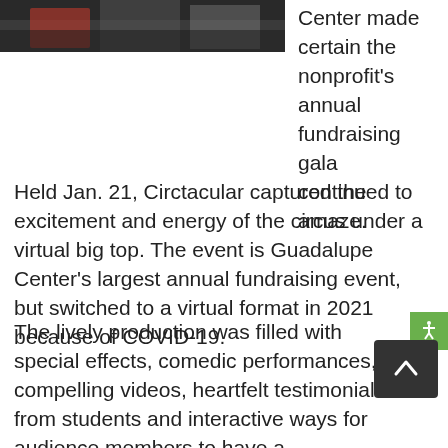[Figure (photo): Partial photo of people at a fundraising event, cropped at top of page]
Center made certain the nonprofit's annual fundraising gala continued to amaze.
Held Jan. 21, Circtacular captured the excitement and energy of the circus under a virtual big top. The event is Guadalupe Center's largest annual fundraising event, but switched to a virtual format in 2021 because of COVID-19.
The lively production was filled with special effects, comedic performances, compelling videos, heartfelt testimonials from students and interactive ways for audience members to have a lifechanging impact on children and families in Immokalee. Guests helped rewrite the stars and experience “The Magic. The Mission. The Moment.” The event was capped with Guadalupe Center’s popular Jump Up for Education, an inspiring call for support that allows attendees make a lasting, transformational impact for more than 1,400